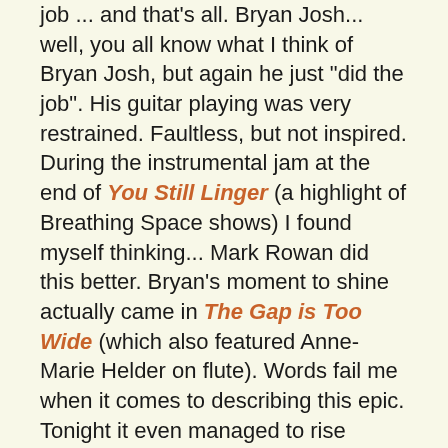job ... and that's all. Bryan Josh... well, you all know what I think of Bryan Josh, but again he just "did the job". His guitar playing was very restrained. Faultless, but not inspired. During the instrumental jam at the end of You Still Linger (a highlight of Breathing Space shows) I found myself thinking... Mark Rowan did this better. Bryan's moment to shine actually came in The Gap is Too Wide (which also featured Anne-Marie Helder on flute). Words fail me when it comes to describing this epic. Tonight it even managed to rise above the dodgy sound mix and EVERYONE'S playing was inspired.
So, all that sounds like an overly negative review of Breathing Space, but that's only because I have come to expect such great things of the band and tonight they were playing in understandably difficult conditions. And because I